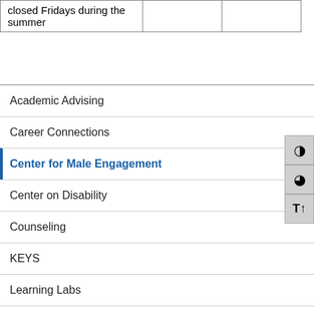| closed Fridays during the summer |  |  |
Academic Advising
Career Connections
Center for Male Engagement
Center on Disability
Counseling
KEYS
Learning Labs
Library Services